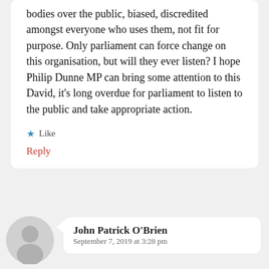bodies over the public, biased, discredited amongst everyone who uses them, not fit for purpose. Only parliament can force change on this organisation, but will they ever listen? I hope Philip Dunne MP can bring some attention to this David, it's long overdue for parliament to listen to the public and take appropriate action.
★ Like
Reply
[Figure (illustration): Generic user avatar icon in grey]
John Patrick O'Brien
September 7, 2019 at 3:28 pm